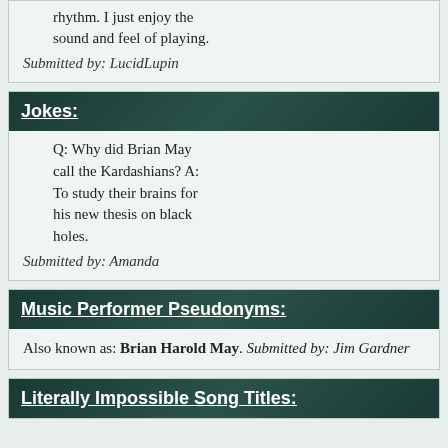rhythm. I just enjoy the sound and feel of playing.
Submitted by: LucidLupin
Jokes:
Q: Why did Brian May call the Kardashians? A: To study their brains for his new thesis on black holes.
Submitted by: Amanda
Music Performer Pseudonyms:
Also known as: Brian Harold May. Submitted by: Jim Gardner
Literally Impossible Song Titles: